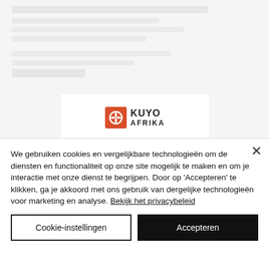[Figure (screenshot): Blurred/faded background showing a webpage with Kuyo Afrika logo visible]
We gebruiken cookies en vergelijkbare technologieën om de diensten en functionaliteit op onze site mogelijk te maken en om je interactie met onze dienst te begrijpen. Door op 'Accepteren' te klikken, ga je akkoord met ons gebruik van dergelijke technologieën voor marketing en analyse. Bekijk het privacybeleid
Cookie-instellingen
Accepteren